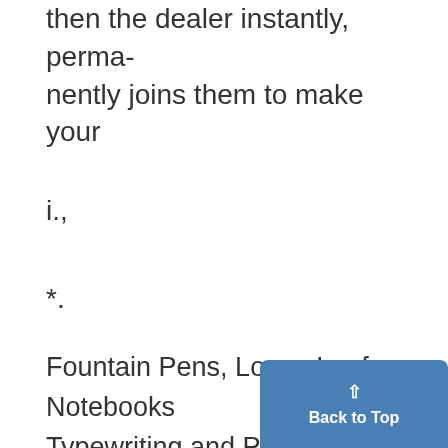then the dealer instantly, permanently joins them to make your
i.,
*.
Fountain Pens, Loose Leaf Notebooks
Typewriting and Pound Papers
Stationery, Leather Goods
College Pennants and Jewelry
A GENERAL LINE OF SUPPLIES F
ALL STUDENTS